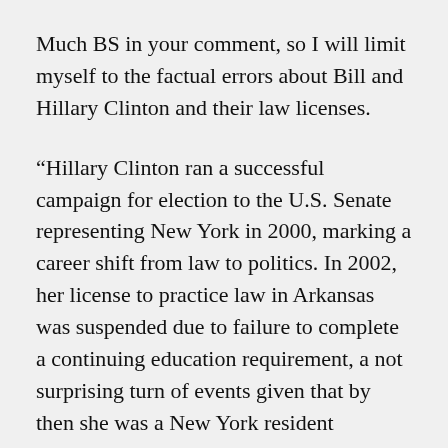Much BS in your comment, so I will limit myself to the factual errors about Bill and Hillary Clinton and their law licenses.
“Hillary Clinton ran a successful campaign for election to the U.S. Senate representing New York in 2000, marking a career shift from law to politics. In 2002, her license to practice law in Arkansas was suspended due to failure to complete a continuing education requirement, a not surprising turn of events given that by then she was a New York resident working in Washington, D.C., and was no longer living, working, or practicing law in Arkansas.